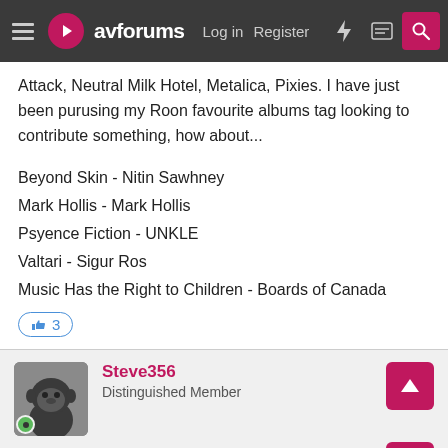avforums — Log in  Register
Attack, Neutral Milk Hotel, Metalica, Pixies. I have just been purusing my Roon favourite albums tag looking to contribute something, how about...
Beyond Skin - Nitin Sawhney
Mark Hollis - Mark Hollis
Psyence Fiction - UNKLE
Valtari - Sigur Ros
Music Has the Right to Children - Boards of Canada
👍 3
Steve356
Distinguished Member
Jul 18, 2020
#22
Ten that spring immediately to mind for me......